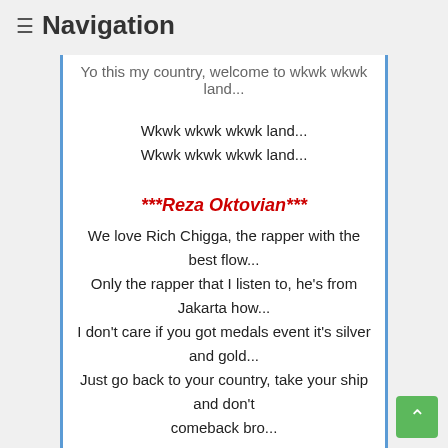≡ Navigation
Yo this my country, welcome to wkwk wkwk land...
Wkwk wkwk wkwk land...
Wkwk wkwk wkwk land...
***Reza Oktovian***
We love Rich Chigga, the rapper with the best flow...
Only the rapper that I listen to, he's from Jakarta how...
I don't care if you got medals event it's silver and gold...
Just go back to your country, take your ship and don't comeback bro...
***Chandra Liow***
Yeah, okay...
Gua bukan rapper, but but but listen...
Kids jaman now I'll be damn they are wow...